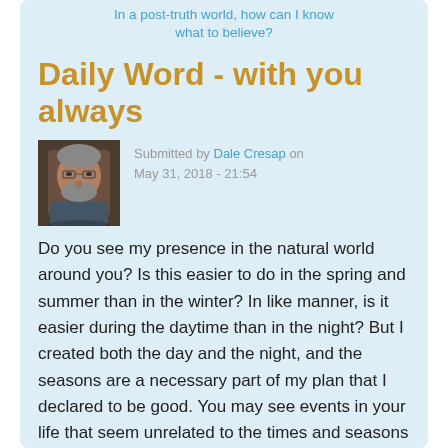In a post-truth world, how can I know what to believe?
Daily Word - with you always
Submitted by Dale Cresap on May 31, 2018 - 21:54
[Figure (photo): Headshot photo of Dale Cresap, a middle-aged man with glasses and a beard]
Do you see my presence in the natural world around you? Is this easier to do in the spring and summer than in the winter? In like manner, is it easier during the daytime than in the night? But I created both the day and the night, and the seasons are a necessary part of my plan that I declared to be good. You may see events in your life that seem unrelated to the times and seasons and judge some to be good and others to be bad. Don't be so quick to judge